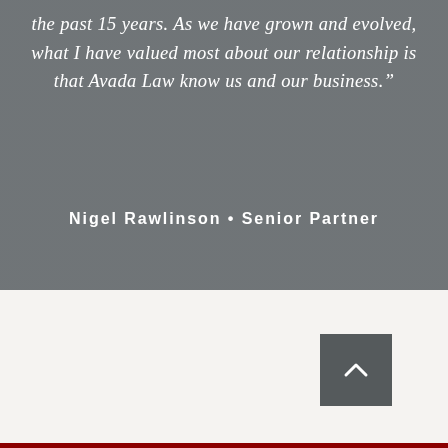the past 15 years. As we have grown and evolved, what I have valued most about our relationship is that Avada Law know us and our business.”
Nigel Rawlinson • Senior Partner
[Figure (other): Back to top button with upward chevron arrow, dark grey square button in the lower right of the white/cream footer area]